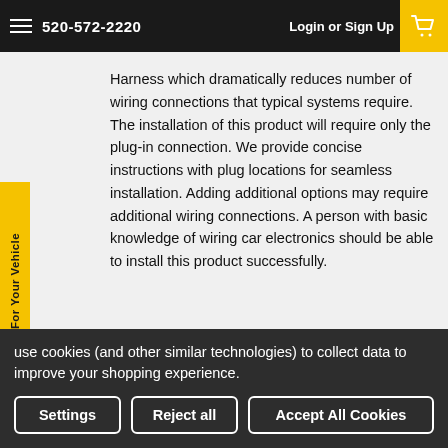520-572-2220  Login or Sign Up
Harness which dramatically reduces number of wiring connections that typical systems require. The installation of this product will require only the plug-in connection. We provide concise instructions with plug locations for seamless installation. Adding additional options may require additional wiring connections. A person with basic knowledge of wiring car electronics should be able to install this product successfully.
Product Reviews
5/5
use cookies (and other similar technologies) to collect data to improve your shopping experience.
Settings  Reject all  Accept All Cookies